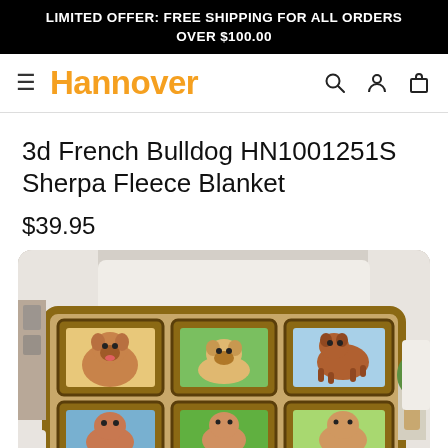LIMITED OFFER: FREE SHIPPING FOR ALL ORDERS OVER $100.00
[Figure (screenshot): Hannover store navigation bar with hamburger menu, orange Hannover logo, search icon, account icon, and cart icon]
3d French Bulldog HN1001251S Sherpa Fleece Blanket
$39.95
[Figure (photo): Photo of a sherpa fleece blanket displayed on a white couch, showing a 3d collage print of French Bulldogs in decorative golden frames arranged in a grid pattern]